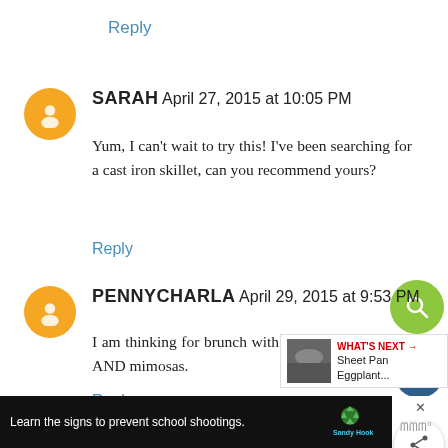Reply
SARAH April 27, 2015 at 10:05 PM
Yum, I can't wait to try this! I've been searching for a cast iron skillet, can you recommend yours?
Reply
PENNYCHARLA April 29, 2015 at 9:53 PM
I am thinking for brunch with a sweet coffee cake. AND mimosas.
Reply
Learn the signs to prevent school shootings.